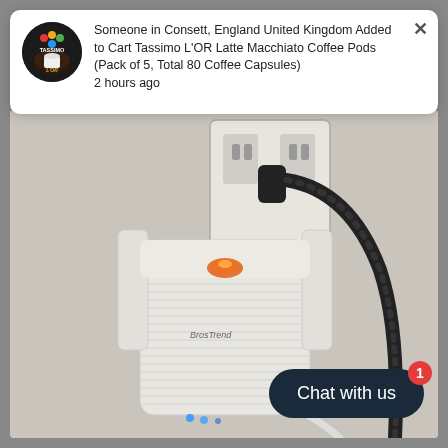Someone in Consett, England United Kingdom Added to Cart Tassimo L'OR Latte Macchiato Coffee Pods (Pack of 5, Total 80 Coffee Capsules) 2 hours ago
[Figure (photo): A white BrosTrend WiFi range extender/repeater plugged into a wall outlet, with a black power cable connected to it. The device has an orange indicator light and blue LED lights visible. It has two white antenna fins on the sides.]
Chat with us